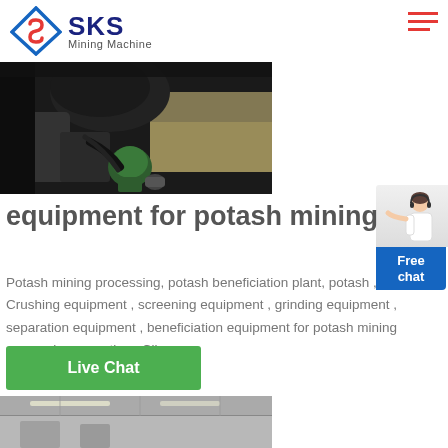SKS Mining Machine
[Figure (photo): Close-up of industrial mining machinery components, dark metal equipment]
[Figure (photo): Free chat widget with person illustration and blue button]
equipment for potash mining
Potash mining processing, potash beneficiation plant, potash , Crushing equipment , screening equipment , grinding equipment , separation equipment , beneficiation equipment for potash mining processing operations Clic.
Live Chat
[Figure (photo): Bottom photo strip showing industrial facility interior]